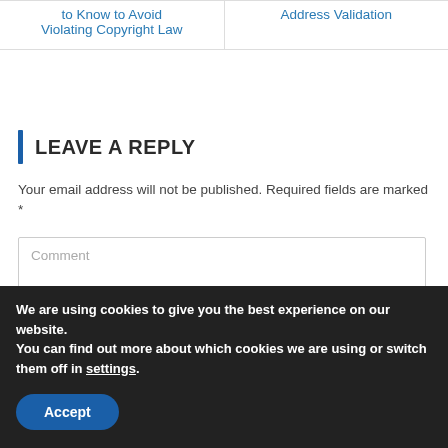| to Know to Avoid Violating Copyright Law | Address Validation |
LEAVE A REPLY
Your email address will not be published. Required fields are marked *
Comment
We are using cookies to give you the best experience on our website.
You can find out more about which cookies we are using or switch them off in settings.